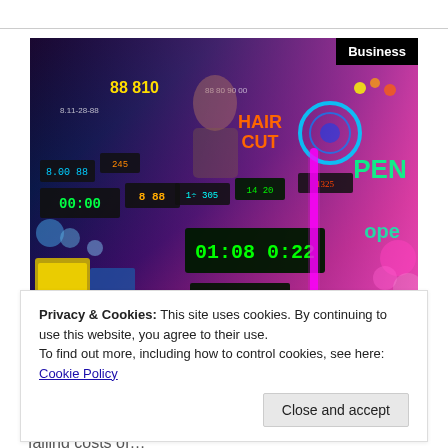[Figure (photo): A colorful market stall or electronics shop filled with neon signs, LED displays, clocks, electronics, and accessories. Multiple digital clocks showing various times, LED signs including 'HAIR CUT' and 'OPEN', neon lights in pink, purple, blue, and green colors. A person is partially visible in the background.]
Business
Privacy & Cookies: This site uses cookies. By continuing to use this website, you agree to their use.
To find out more, including how to control cookies, see here: Cookie Policy
Close and accept
Accessories
Thanks to the rising affordability of ICT products and falling costs of…